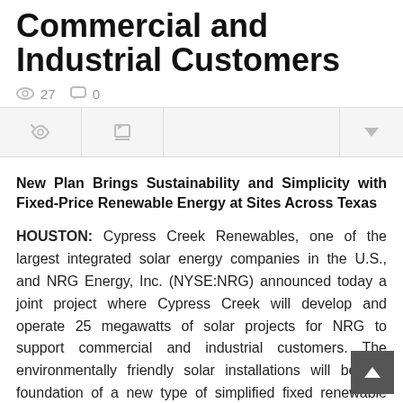Commercial and Industrial Customers
👁 27  💬 0
New Plan Brings Sustainability and Simplicity with Fixed-Price Renewable Energy at Sites Across Texas
HOUSTON: Cypress Creek Renewables, one of the largest integrated solar energy companies in the U.S., and NRG Energy, Inc. (NYSE:NRG) announced today a joint project where Cypress Creek will develop and operate 25 megawatts of solar projects for NRG to support commercial and industrial customers. The environmentally friendly solar installations will be the foundation of a new type of simplified fixed renewable energy plan for large businesses, adding an